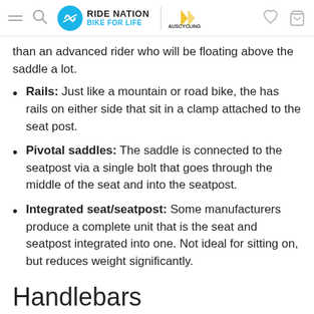Ride Nation - Bike For Life | AusCycling
than an advanced rider who will be floating above the saddle a lot.
Rails: Just like a mountain or road bike, the has rails on either side that sit in a clamp attached to the seat post.
Pivotal saddles: The saddle is connected to the seatpost via a single bolt that goes through the middle of the seat and into the seatpost.
Integrated seat/seatpost: Some manufacturers produce a complete unit that is the seat and seatpost integrated into one. Not ideal for sitting on, but reduces weight significantly.
Handlebars